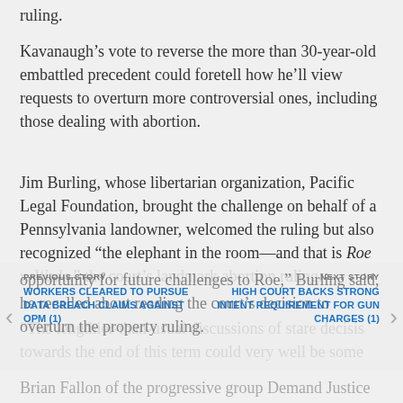ruling.
Kavanaugh’s vote to reverse the more than 30-year-old embattled precedent could foretell how he’ll view requests to overturn more controversial ones, including those dealing with abortion.
Jim Burling, whose libertarian organization, Pacific Legal Foundation, brought the challenge on behalf of a Pennsylvania landowner, welcomed the ruling but also recognized “the elephant in the room—and that is Roe v. Wade,” the court’s landmark abortion ruling.
“The lengthier-than-usual discussions of stare decisis towards the end of this term could very well be some opportunity for future challenges to Roe,” Burling said, he recalled about reading the court’s decision to overturn the property ruling.
Brian Fallon of the progressive group Demand Justice
PREVIOUS STORY
WORKERS CLEARED TO PURSUE DATA BREACH CLAIMS AGAINST OPM (1)
NEXT STORY
HIGH COURT BACKS STRONG INTENT REQUIREMENT FOR GUN CHARGES (1)